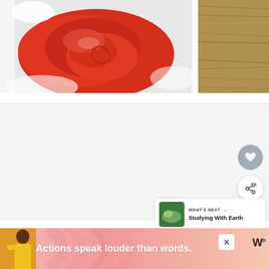[Figure (photo): Close-up photo of red ketchup or tomato sauce spread on a white plate, with shiny swirl patterns. Partial view of a second image to the right showing a wooden texture.]
[Figure (screenshot): Web page section showing a light gray content area with UI elements: a heart/favorite icon button (gray circle), a share icon button (white circle with share symbol), a 'WHAT'S NEXT' recommendation card showing a thumbnail and text 'Studying With Earth'.]
[Figure (photo): Advertisement banner with pink/coral gradient background showing a person in yellow clothing and the text 'Actions speak louder than words.' with a close button and a logo reading 'W' with a degree symbol.]